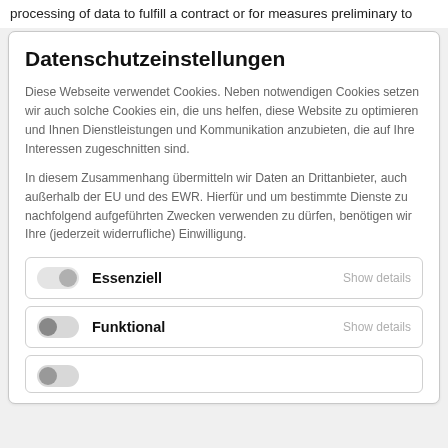processing of data to fulfill a contract or for measures preliminary to
Datenschutzeinstellungen
Diese Webseite verwendet Cookies. Neben notwendigen Cookies setzen wir auch solche Cookies ein, die uns helfen, diese Website zu optimieren und Ihnen Dienstleistungen und Kommunikation anzubieten, die auf Ihre Interessen zugeschnitten sind.
In diesem Zusammenhang übermitteln wir Daten an Drittanbieter, auch außerhalb der EU und des EWR. Hierfür und um bestimmte Dienste zu nachfolgend aufgeführten Zwecken verwenden zu dürfen, benötigen wir Ihre (jederzeit widerrufliche) Einwilligung.
Essenziell — Show details (toggle off)
Funktional — Show details (toggle on)